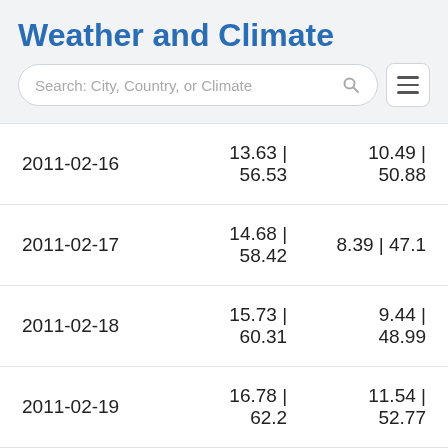Weather and Climate
[Figure (screenshot): Search bar with placeholder text 'Search: City, Country, or Climate' and a hamburger menu icon]
| Date | Col2 | Col3 |
| --- | --- | --- |
| 2011-02-16 | 13.63 | 56.53 | 10.49 | 50.88 |
| 2011-02-17 | 14.68 | 58.42 | 8.39 | 47.1 |
| 2011-02-18 | 15.73 | 60.31 | 9.44 | 48.99 |
| 2011-02-19 | 16.78 | 62.2 | 11.54 | 52.77 |
| 2011-02-20 | 15.73 | 60.31 | 11.54 | 52.77 |
| 2011-02-21 | 14.68 | 58.42 | 10.49 | 50.88 |
| 2011-02-22 | 15.73 | 60.31 | 10.49 | 50.88 |